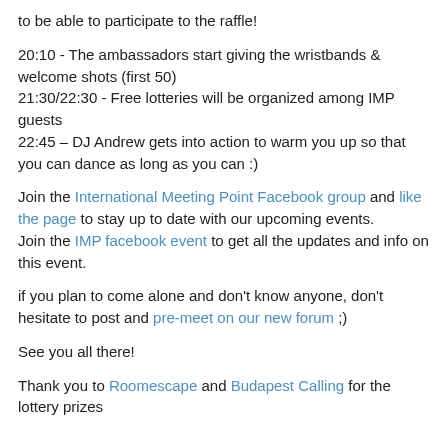to be able to participate to the raffle!
20:10 - The ambassadors start giving the wristbands & welcome shots (first 50)
21:30/22:30 - Free lotteries will be organized among IMP guests
22:45 – DJ Andrew gets into action to warm you up so that you can dance as long as you can :)
Join the International Meeting Point Facebook group and like the page to stay up to date with our upcoming events.
Join the IMP facebook event to get all the updates and info on this event.
if you plan to come alone and don't know anyone, don't hesitate to post and pre-meet on our new forum ;)
See you all there!
Thank you to Roomescape and Budapest Calling for the lottery prizes